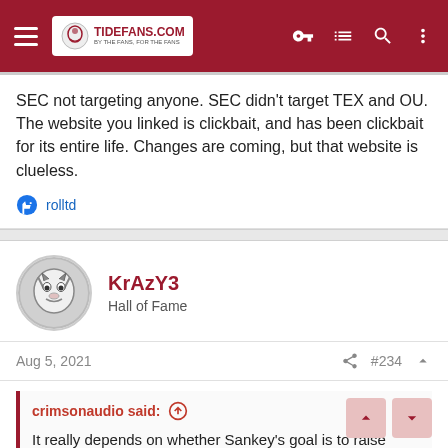TideFans.com
SEC not targeting anyone. SEC didn't target TEX and OU. The website you linked is clickbait, and has been clickbait for its entire life. Changes are coming, but that website is clueless.
rolltd
KrAzY3
Hall of Fame
Aug 5, 2021
#234
crimsonaudio said:
It really depends on whether Sankey's goal is to raise more revenue by expanding the market map or if his ultimate goal is to build an NCAA-killer.
If it's the latter, then market matters less than name.